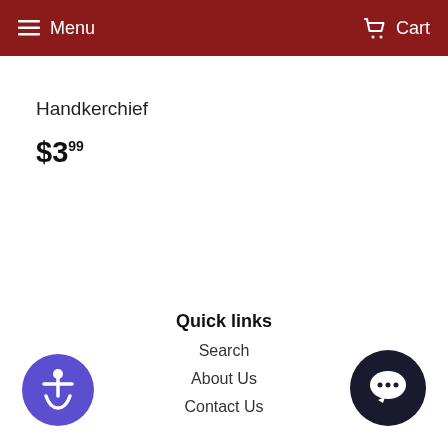Menu  Cart
Handkerchief
$3.99
Quick links
Search
About Us
Contact Us
[Figure (illustration): Accessibility icon: blue circle with white wheelchair accessible person symbol]
[Figure (illustration): Chat/message icon: dark circle with white speech bubble]